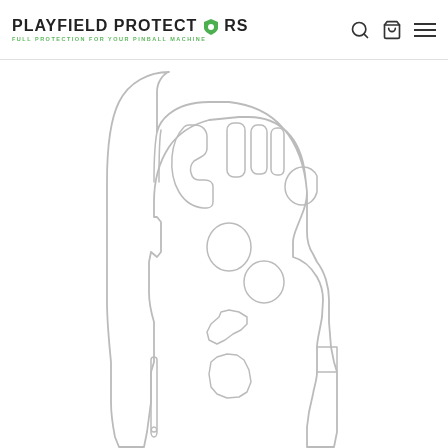[Figure (logo): Playfield Protectors logo with green shield icon and tagline 'FULL PROTECTION FOR YOUR PINBALL MACHINE']
[Figure (engineering-diagram): Line drawing outline of a pinball machine playfield showing cutouts, ramps, bumpers, targets, plunger lane, and other playfield features in gray on white background]